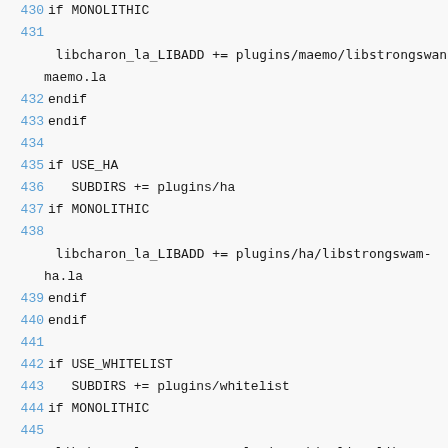Code listing lines 430-447 of a Makefile showing conditional MONOLITHIC and USE_HA and USE_WHITELIST blocks with SUBDIRS and libcharon_la_LIBADD assignments